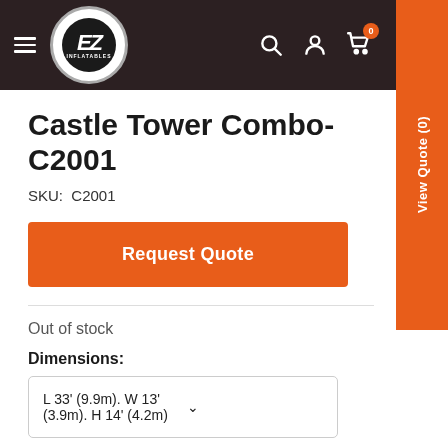EZ Inflatables header navigation with logo, search, account, cart (0), and View Quote (0) button
Castle Tower Combo-C2001
SKU: C2001
Request Quote
Out of stock
Dimensions:
L 33' (9.9m). W 13' (3.9m). H 14' (4.2m)